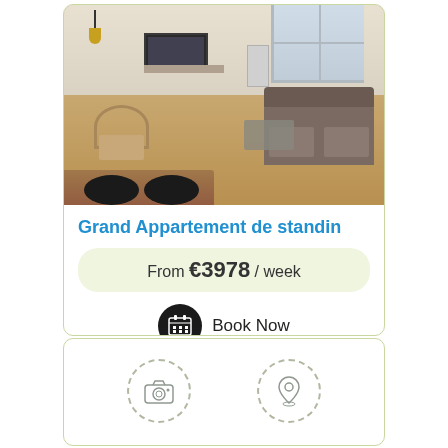[Figure (photo): Interior photo of a modern apartment living room with hardwood floors, rattan chair, dark sofa, dining table with black chairs in foreground, TV on stand, radiator, and hanging Edison bulb lamp]
Grand Appartement de standin
From €3978 / week
Book Now
[Figure (other): Two dashed circle icons: a camera icon on the left and a map location pin icon on the right]